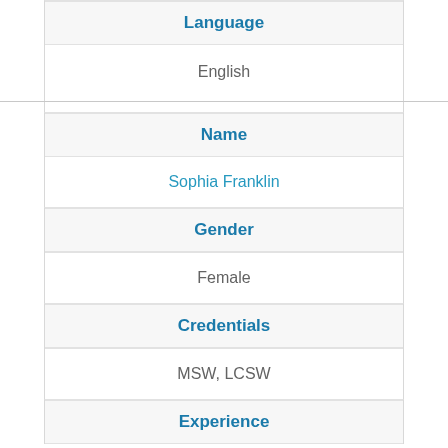Language
English
Name
Sophia Franklin
Gender
Female
Credentials
MSW, LCSW
Experience